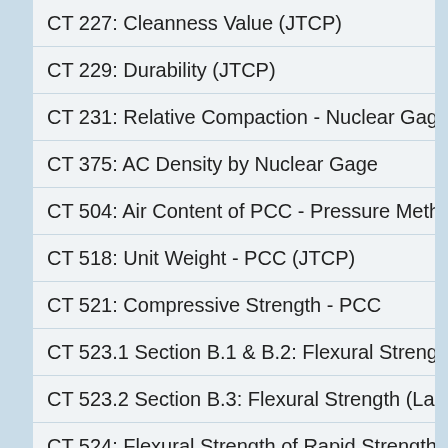CT 227: Cleanness Value (JTCP)
CT 229: Durability (JTCP)
CT 231: Relative Compaction - Nuclear Gage
CT 375: AC Density by Nuclear Gage
CT 504: Air Content of PCC - Pressure Method
CT 518: Unit Weight - PCC (JTCP)
CT 521: Compressive Strength - PCC
CT 523.1 Section B.1 & B.2: Flexural Strength o
CT 523.2 Section B.3: Flexural Strength (Lab Te
CT 524: Flexural Strength of Rapid Strength - P
CT 533: Ball Penetration - PCC
CT 539: Sampling Fresh Concrete (JTCP)